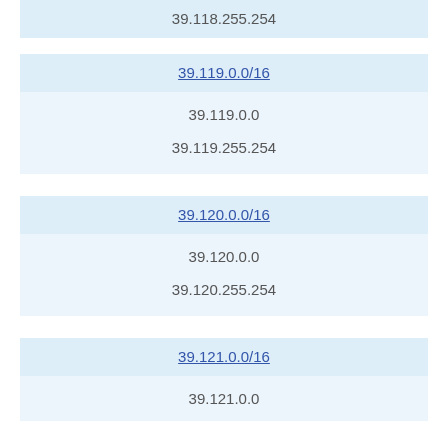39.118.255.254
| 39.119.0.0/16 |
| 39.119.0.0 |
| 39.119.255.254 |
| 39.120.0.0/16 |
| 39.120.0.0 |
| 39.120.255.254 |
| 39.121.0.0/16 |
| 39.121.0.0 |